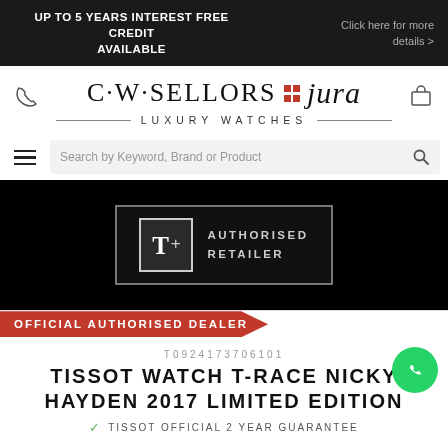UP TO 5 YEARS INTEREST FREE CREDIT AVAILABLE | Click here for more details >
[Figure (logo): C·W·SELLORS with red grid dots and jura italic logo — LUXURY WATCHES]
Search by Keyword, Brand or Product
[Figure (logo): Tissot T+ Authorised Retailer badge on black background]
OFFICIAL AUTHORISED DEALER
T0924173706101
TISSOT WATCH T-RACE NICKY HAYDEN 2017 LIMITED EDITION
✓ TISSOT OFFICIAL 2 YEAR GUARANTEE